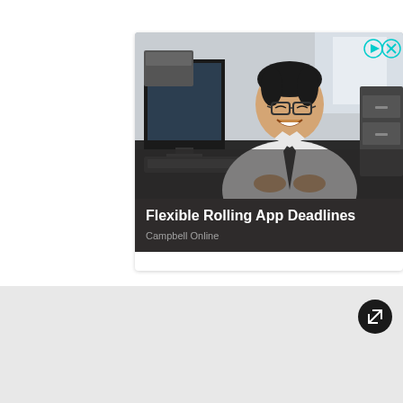[Figure (photo): Advertisement banner showing a young Asian man in white shirt and dark tie sitting at an office desk with a computer monitor and keyboard, smiling at camera. Office background with equipment and window. Text overlay reads 'Flexible Rolling App Deadlines' with subtitle 'Campbell Online'. Ad icons (play/triangle and X) visible in top right corner.]